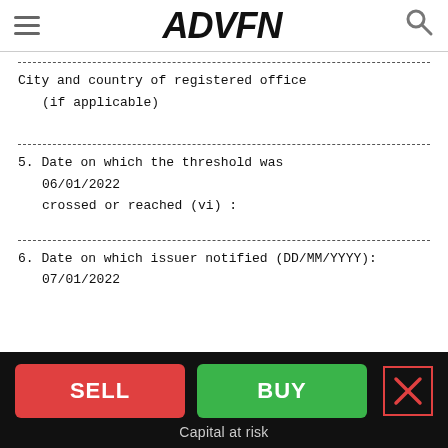ADVFN
City and country of registered office (if applicable)
5. Date on which the threshold was 06/01/2022 crossed or reached (vi) :
6. Date on which issuer notified (DD/MM/YYYY): 07/01/2022
SELL | BUY | Capital at risk